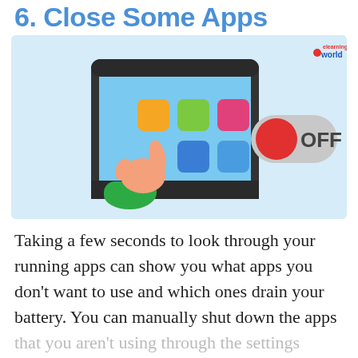6. Close Some Apps
[Figure (illustration): Illustration showing a hand pointing at a tablet with colorful app icons (orange, green, pink, blue squares) on the left, and a toggle switch in the OFF position on the right, set against a light blue background. An elearning world logo appears in the top right corner.]
Taking a few seconds to look through your running apps can show you what apps you don't want to use and which ones drain your battery. You can manually shut down the apps that you aren't using through the settings menu.